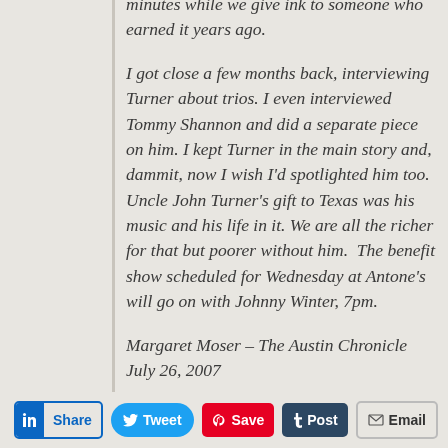minutes while we give ink to someone who earned it years ago.
I got close a few months back, interviewing Turner about trios. I even interviewed Tommy Shannon and did a separate piece on him. I kept Turner in the main story and, dammit, now I wish I'd spotlighted him too. Uncle John Turner's gift to Texas was his music and his life in it. We are all the richer for that but poorer without him.  The benefit show scheduled for Wednesday at Antone's will go on with Johnny Winter, 7pm.
Margaret Moser – The Austin Chronicle July 26, 2007
Share | Tweet | Save | Post | Email